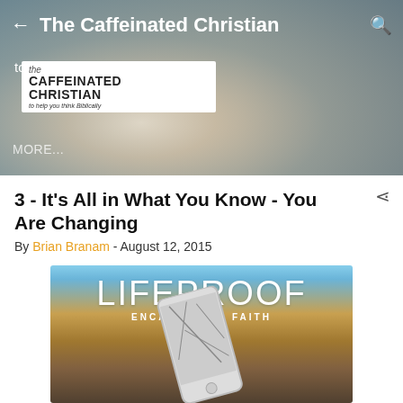[Figure (screenshot): App header showing a person holding a coffee mug with 'The Caffeinated Christian' logo text. Nav bar with back arrow, title, and search icon. Below the mug is text reading 'to help you think Biblically' and 'MORE...']
3 - It's All in What You Know - You Are Changing
By Brian Branam - August 12, 2015
[Figure (photo): Banner image for 'LIFEPROOF: ENCASE YOUR FAITH' showing a broken smartphone lying on rocky ground with landscape background]